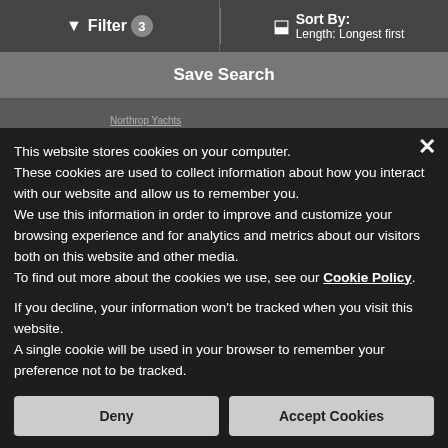Filter 3   Sort By: Length: Longest first
Save Search
[Figure (screenshot): Background of a yacht listing website page, partially obscured by cookie consent dialog. Shows 'Northrop Yachts' text, email subscription form, and a boat image.]
This website stores cookies on your computer. These cookies are used to collect information about how you interact with our website and allow us to remember you. We use this information in order to improve and customize your browsing experience and for analytics and metrics about our visitors both on this website and other media. To find out more about the cookies we use, see our Cookie Policy.
If you decline, your information won't be tracked when you visit this website.
A single cookie will be used in your browser to remember your preference not to be tracked.
Deny
Accept Cookies
2003 Sunseeker Superhawk 34